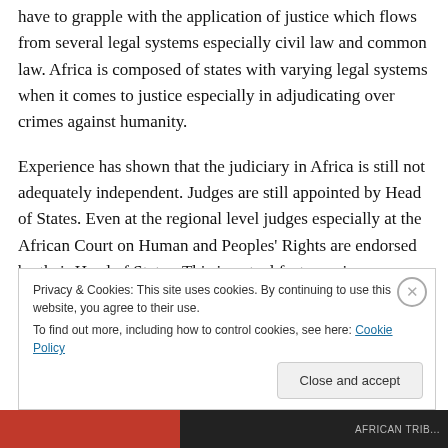have to grapple with the application of justice which flows from several legal systems especially civil law and common law. Africa is composed of states with varying legal systems when it comes to justice especially in adjudicating over crimes against humanity.
Experience has shown that the judiciary in Africa is still not adequately independent. Judges are still appointed by Head of States. Even at the regional level judges especially at the African Court on Human and Peoples' Rights are endorsed by their Head of States. This in actual fact remains an aberration to the independence and
Privacy & Cookies: This site uses cookies. By continuing to use this website, you agree to their use.
To find out more, including how to control cookies, see here: Cookie Policy